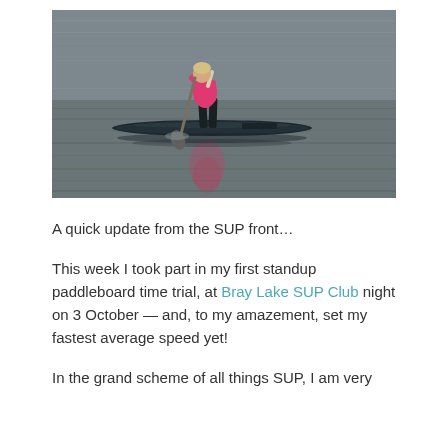[Figure (photo): A person in a pink top and dark leggings standing on a dark stand-up paddleboard (SUP) and paddling across calm grey water. The person is leaning forward holding a long paddle. The water is still with gentle ripples and reflections.]
A quick update from the SUP front…
This week I took part in my first standup paddleboard time trial, at Bray Lake SUP Club night on 3 October — and, to my amazement, set my fastest average speed yet!
In the grand scheme of all things SUP, I am very